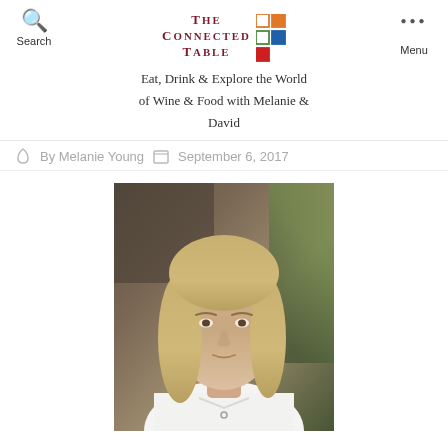THE CONNECTED TABLE — Eat, Drink & Explore the World of Wine & Food with Melanie & David — Search | Menu
By Melanie Young   September 6, 2017
[Figure (photo): Portrait photo of a woman with shoulder-length blonde hair wearing a white chef's jacket, photographed against a blurred background with green foliage.]